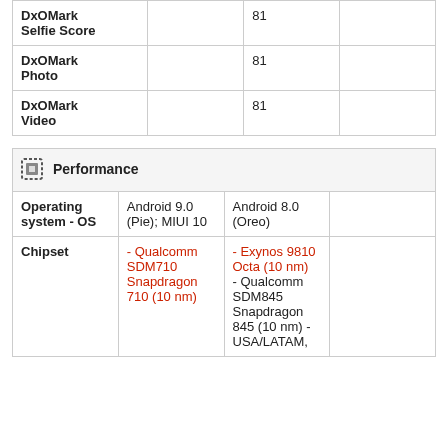|  |  |  |  |
| --- | --- | --- | --- |
| DxOMark Selfie Score |  | 81 |  |
| DxOMark Photo |  | 81 |  |
| DxOMark Video |  | 81 |  |
| Performance |  |  |  |
| --- | --- | --- | --- |
| Operating system - OS | Android 9.0 (Pie); MIUI 10 | Android 8.0 (Oreo) |  |
| Chipset | - Qualcomm SDM710 Snapdragon 710 (10 nm) | - Exynos 9810 Octa (10 nm)
- Qualcomm SDM845 Snapdragon 845 (10 nm) - USA/LATAM, |  |